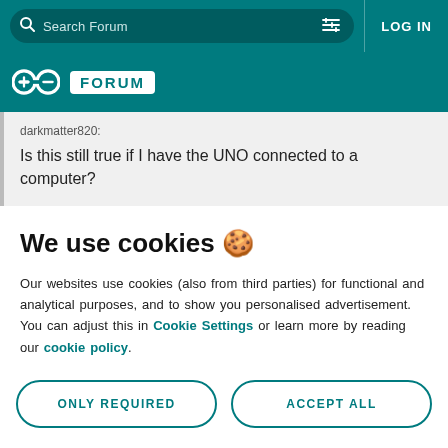Search Forum | LOG IN
[Figure (logo): Arduino Forum logo — infinity symbol and FORUM text on teal background]
darkmatter820:
Is this still true if I have the UNO connected to a computer?
We use cookies 🍪
Our websites use cookies (also from third parties) for functional and analytical purposes, and to show you personalised advertisement. You can adjust this in Cookie Settings or learn more by reading our cookie policy.
ONLY REQUIRED | ACCEPT ALL